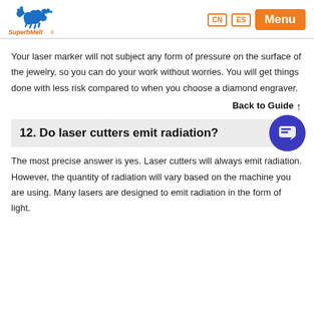SuperbMelt CN ES Menu
Your laser marker will not subject any form of pressure on the surface of the jewelry, so you can do your work without worries. You will get things done with less risk compared to when you choose a diamond engraver.
Back to Guide ↑
12. Do laser cutters emit radiation?
The most precise answer is yes. Laser cutters will always emit radiation. However, the quantity of radiation will vary based on the machine you are using. Many lasers are designed to emit radiation in the form of light.